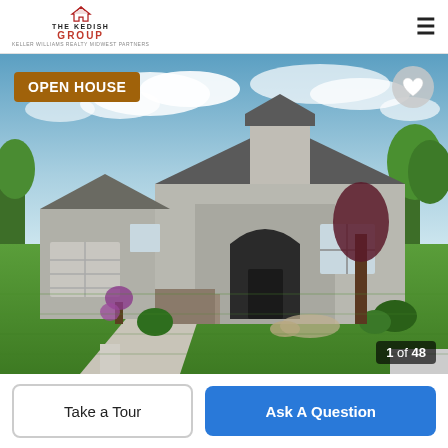[Figure (logo): The Kedish Group real estate logo with house icon and tagline]
[Figure (photo): Exterior photo of a single-story suburban home with gray stucco, large green lawn, blue sky, and landscaping. Labeled OPEN HOUSE with image counter 1 of 48 and a heart/favorite button.]
1 of 48
Take a Tour
Ask A Question